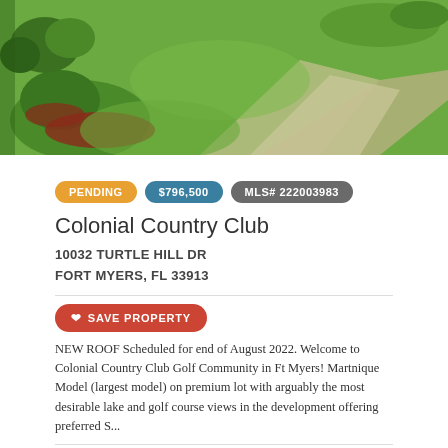[Figure (photo): Aerial/ground view of a green landscaped lawn with a pathway, shrubs and red mulch borders under bright sunlight — property exterior of Colonial Country Club community]
PENDING  $796,500  MLS# 222003983
Colonial Country Club
10032 TURTLE HILL DR
FORT MYERS, FL 33913
♥ SAVE PROPERTY
NEW ROOF Scheduled for end of August 2022. Welcome to Colonial Country Club Golf Community in Ft Myers! Martnique Model (largest model) on premium lot with arguably the most desirable lake and golf course views in the development offering preferred S...
2992 Sqft, 0.22 Acres
3 Bed, 2 Bath
Status Pending
Listing Courtesy of:
CHAT WITH AGENT